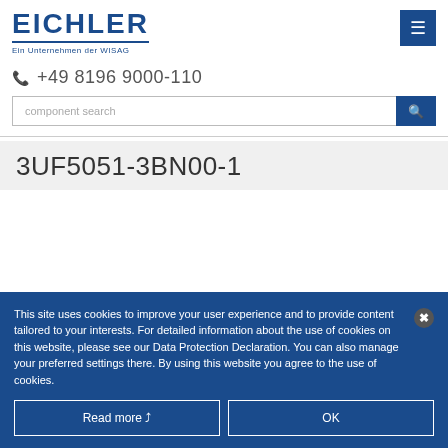[Figure (logo): EICHLER logo with tagline 'Ein Unternehmen der WISAG']
+49 8196 9000-110
component search
3UF5051-3BN00-1
This site uses cookies to improve your user experience and to provide content tailored to your interests. For detailed information about the use of cookies on this website, please see our Data Protection Declaration. You can also manage your preferred settings there. By using this website you agree to the use of cookies.
Read more
OK